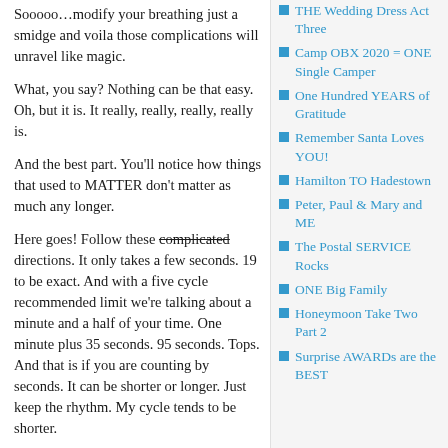Sooooo…modify your breathing just a smidge and voila those complications will unravel like magic.
What, you say? Nothing can be that easy. Oh, but it is. It really, really, really, really is.
And the best part. You'll notice how things that used to MATTER don't matter as much any longer.
Here goes! Follow these complicated directions. It only takes a few seconds. 19 to be exact. And with a five cycle recommended limit we're talking about a minute and a half of your time. One minute plus 35 seconds. 95 seconds. Tops. And that is if you are counting by seconds. It can be shorter or longer. Just keep the rhythm. My cycle tends to be shorter.
It's an absolute. And our souls speak in…
THE Wedding Dress Act Three
Camp OBX 2020 = ONE Single Camper
One Hundred YEARS of Gratitude
Remember Santa Loves YOU!
Hamilton TO Hadestown
Peter, Paul & Mary and ME
The Postal SERVICE Rocks
ONE Big Family
Honeymoon Take Two Part 2
Surprise AWARDs are the BEST